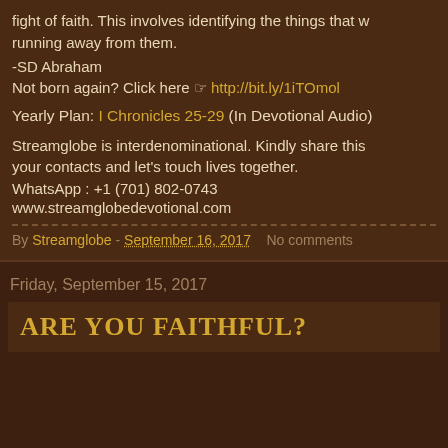fight of faith. This involves identifying the things that w... running away from them.
-SD Abraham
Not born again? Click here ☞ http://bit.ly/1iTOmol
Yearly Plan: I Chronicles 25-29 (In Devotional Audio)
Streamglobe is interdenominational. Kindly share this... your contacts and let's touch lives together.
WhatsApp : +1 (701) 802-0743
www.streamglobedevotional.com
By Streamglobe - September 16, 2017    No comments
Friday, September 15, 2017
ARE YOU FAITHFUL?